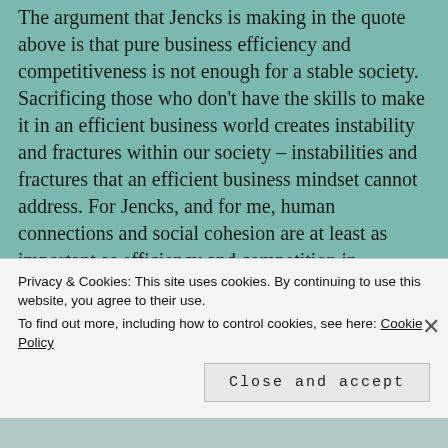The argument that Jencks is making in the quote above is that pure business efficiency and competitiveness is not enough for a stable society. Sacrificing those who don't have the skills to make it in an efficient business world creates instability and fractures within our society – instabilities and fractures that an efficient business mindset cannot address. For Jencks, and for me, human connections and social cohesion are at least as important as efficiency and competition in business. The focus on short-term returns, a frequent critique of American corporations today, certainly cannot help social cohesion or improved long-term human connections and senses of community. I think that writers like Tyler Cowen are correct in
Privacy & Cookies: This site uses cookies. By continuing to use this website, you agree to their use. To find out more, including how to control cookies, see here: Cookie Policy
Close and accept